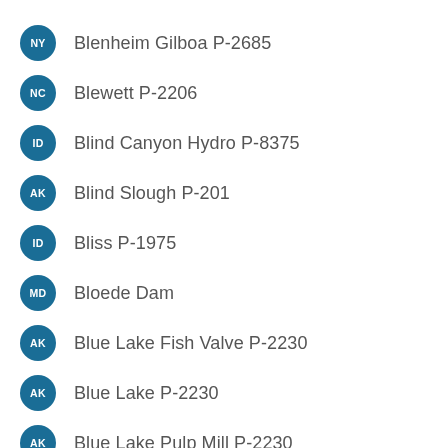NY Blenheim Gilboa P-2685
NC Blewett P-2206
ID Blind Canyon Hydro P-8375
AK Blind Slough P-201
ID Bliss P-1975
MD Bloede Dam
AK Blue Lake Fish Valve P-2230
AK Blue Lake P-2230
AK Blue Lake Pulp Mill P-2230
CO Blue Mesa